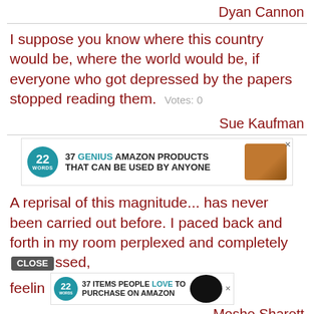Dyan Cannon
I suppose you know where this country would be, where the world would be, if everyone who got depressed by the papers stopped reading them. Votes: 0
Sue Kaufman
[Figure (screenshot): Advertisement banner: 22 Words logo, '37 GENIUS AMAZON PRODUCTS THAT CAN BE USED BY ANYONE', product image]
A reprisal of this magnitude... has never been carried out before. I paced back and forth in my room perplexed and completely [CLOSE]ssed, feelin [37 ITEMS PEOPLE LOVE TO PURCHASE ON AMAZON ad]
Moshe Sharett
If you go into any physics lab, everybody is